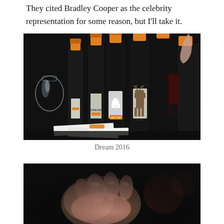They cited Bradley Cooper as the celebrity representation for some reason, but I'll take it.
[Figure (photo): Multiple wine bottles with orange caps and animal labels displayed on a dark table, with a glass decanter on the left and papers/cards in front]
Dream 2016
[Figure (photo): Close-up of a human hand/fist in dark background, blurred/bokeh style]